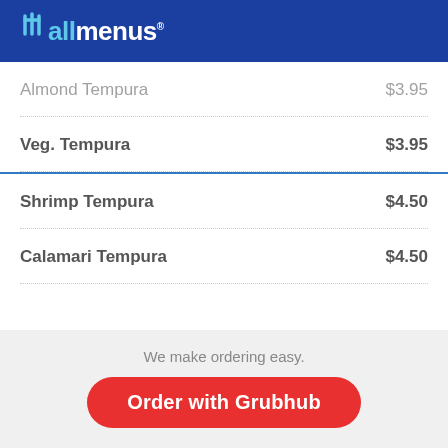allmenus
Almond Tempura   $3.95
Veg. Tempura   $3.95
Shrimp Tempura   $4.50
Calamari Tempura   $4.50
We make ordering easy.  Order with Grubhub